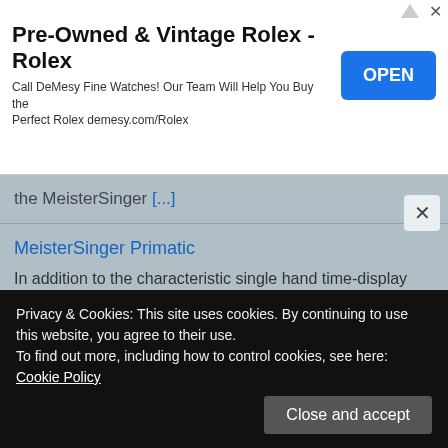[Figure (screenshot): Advertisement banner for Pre-Owned & Vintage Rolex by DeMesy with OPEN button]
the MeisterSinger [...]
MeisterSinger Primatic
In addition to the characteristic single hand time-display feature, the new MeisterSinger Primatic watch offers power reserve indicator and date function. The large needle hand with an overhang shows [...]
MeisterSinger Pangaea 365 Limited Edition
MeisterSinger presents Pangaea 365, a brand new limited
Privacy & Cookies: This site uses cookies. By continuing to use this website, you agree to their use.
To find out more, including how to control cookies, see here: Cookie Policy
Spinnaker Croft 3912 Limited Edition